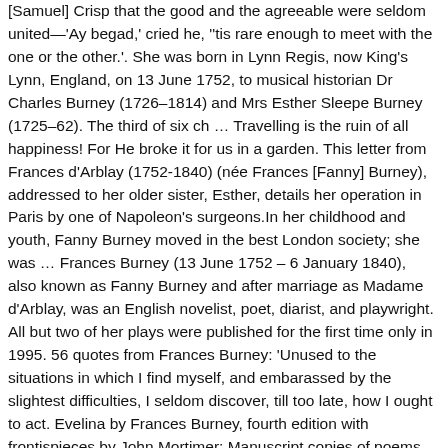[Samuel] Crisp that the good and the agreeable were seldom united—'Ay begad,' cried he, ''tis rare enough to meet with the one or the other.'. She was born in Lynn Regis, now King's Lynn, England, on 13 June 1752, to musical historian Dr Charles Burney (1726–1814) and Mrs Esther Sleepe Burney (1725–62). The third of six ch … Travelling is the ruin of all happiness! For He broke it for us in a garden. This letter from Frances d'Arblay (1752-1840) (née Frances [Fanny] Burney), addressed to her older sister, Esther, details her operation in Paris by one of Napoleon's surgeons.In her childhood and youth, Fanny Burney moved in the best London society; she was … Frances Burney (13 June 1752 – 6 January 1840), also known as Fanny Burney and after marriage as Madame d'Arblay, was an English novelist, poet, diarist, and playwright. All but two of her plays were published for the first time only in 1995. 56 quotes from Frances Burney: 'Unused to the situations in which I find myself, and embarassed by the slightest difficulties, I seldom discover, till too late, how I ought to act. Evelina by Frances Burney, fourth edition with frontispieces by John Mortimer; Manuscript copies of poems from Evelina and